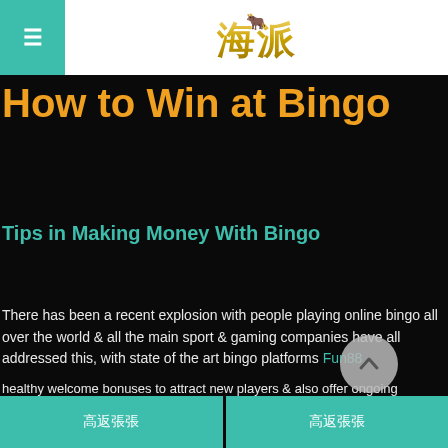≡ [海派 logo]
How to Win at Bingo
Tips in Making Money With Bingo
There has been a recent explosion with people playing online bingo all over the world & all the main sport & gaming companies have all addressed this, with state of the art bingo platforms Fun88.
healthy welcome bonuses to attract new players & also offer ongoing